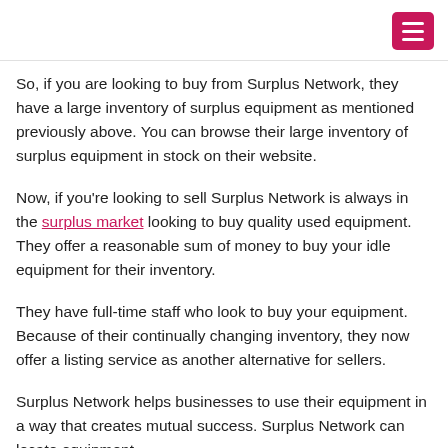So, if you are looking to buy from Surplus Network, they have a large inventory of surplus equipment as mentioned previously above. You can browse their large inventory of surplus equipment in stock on their website.
Now, if you're looking to sell Surplus Network is always in the surplus market looking to buy quality used equipment. They offer a reasonable sum of money to buy your idle equipment for their inventory.
They have full-time staff who look to buy your equipment. Because of their continually changing inventory, they now offer a listing service as another alternative for sellers.
Surplus Network helps businesses to use their equipment in a way that creates mutual success. Surplus Network can locate equipment